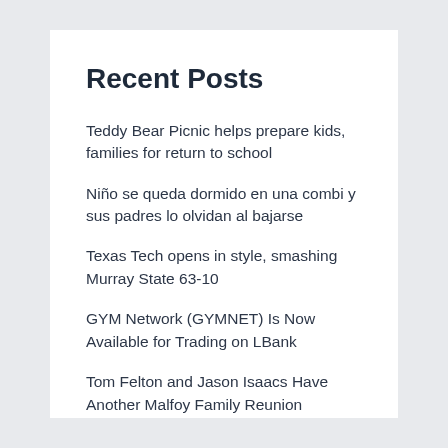Recent Posts
Teddy Bear Picnic helps prepare kids, families for return to school
Niño se queda dormido en una combi y sus padres lo olvidan al bajarse
Texas Tech opens in style, smashing Murray State 63-10
GYM Network (GYMNET) Is Now Available for Trading on LBank
Tom Felton and Jason Isaacs Have Another Malfoy Family Reunion